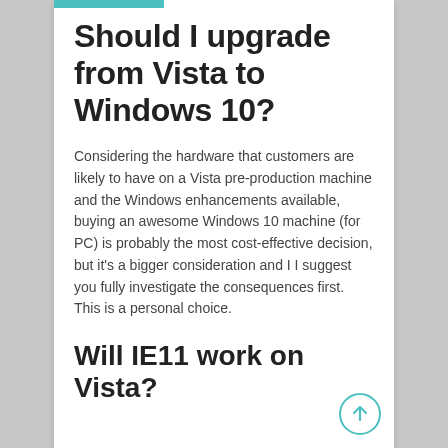Should I upgrade from Vista to Windows 10?
Considering the hardware that customers are likely to have on a Vista pre-production machine and the Windows enhancements available, buying an awesome Windows 10 machine (for PC) is probably the most cost-effective decision, but it's a bigger consideration and I I suggest you fully investigate the consequences first. This is a personal choice.
Will IE11 work on Vista?